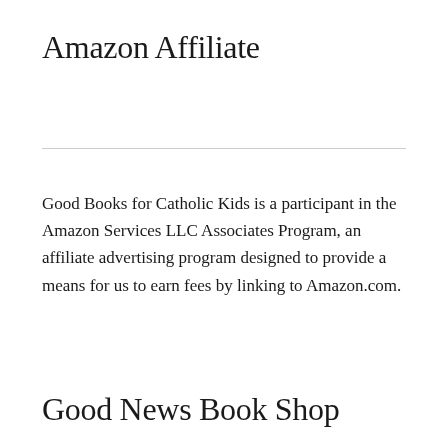Amazon Affiliate
Good Books for Catholic Kids is a participant in the Amazon Services LLC Associates Program, an affiliate advertising program designed to provide a means for us to earn fees by linking to Amazon.com.
Good News Book Shop